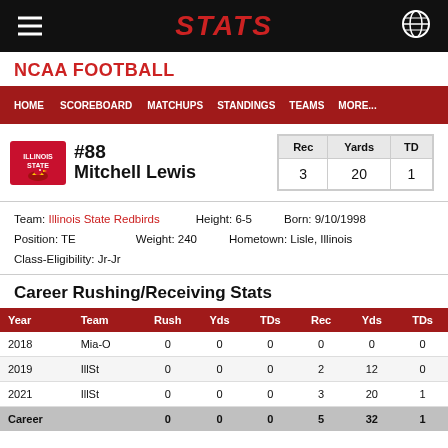STATS
NCAA FOOTBALL
#88 Mitchell Lewis — Rec: 3, Yards: 20, TD: 1
Team: Illinois State Redbirds  Height: 6-5  Born: 9/10/1998
Position: TE  Weight: 240  Hometown: Lisle, Illinois
Class-Eligibility: Jr-Jr
Career Rushing/Receiving Stats
| Year | Team | Rush | Yds | TDs | Rec | Yds | TDs |
| --- | --- | --- | --- | --- | --- | --- | --- |
| 2018 | Mia-O | 0 | 0 | 0 | 0 | 0 | 0 |
| 2019 | IllSt | 0 | 0 | 0 | 2 | 12 | 0 |
| 2021 | IllSt | 0 | 0 | 0 | 3 | 20 | 1 |
| Career |  | 0 | 0 | 0 | 5 | 32 | 1 |